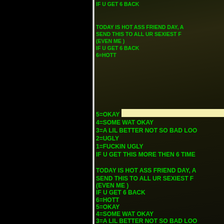[Figure (photo): Dark background image with rocks/water on the right portion of the page, with a black left panel and vertical divider line]
IF U GET 6 BACK
TODAY IS HOT ASS FRIEND DAY, AND
SEND THIS TO ALL UR SEXIEST FRIENDS
(EVEN ME )
IF U GET 6 BACK
6=HOTT
5=OKAY
4=SOME WAT OKAY
3=A LIL BETTER NOT SO BAD LOOKIN
2=UGLY
1=FUCKIN UGLY
IF U GET THIS MORE THEN 6 TIMES

TODAY IS HOT ASS FRIEND DAY, AND
SEND THIS TO ALL UR SEXIEST FRIENDS
(EVEN ME )
IF U GET 6 BACK
6=HOTT
5=OKAY
4=SOME WAT OKAY
3=A LIL BETTER NOT SO BAD LOOKIN
2=UGLY
1=FUCKIN UGLY
IF U GET THIS MORE THEN 6 TIMES

TODAY IS HOT ASS FRIEND DAY, AND
SEND THIS TO ALL UR SEXIEST FRIENDS
(EVEN ME )
IF U GET 6 BACK
6=HOTT
5=OKAY
4=SOME WAT OKAY